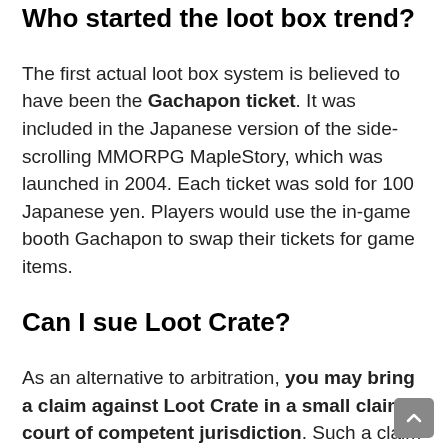Who started the loot box trend?
The first actual loot box system is believed to have been the Gachapon ticket. It was included in the Japanese version of the side-scrolling MMORPG MapleStory, which was launched in 2004. Each ticket was sold for 100 Japanese yen. Players would use the in-game booth Gachapon to swap their tickets for game items.
Can I sue Loot Crate?
As an alternative to arbitration, you may bring a claim against Loot Crate in a small claims court of competent jurisdiction. Such a claim may be brought in your name only, and not as a class action,